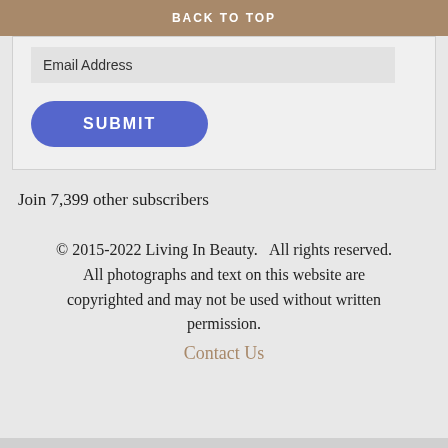BACK TO TOP
Email Address
SUBMIT
Join 7,399 other subscribers
© 2015-2022 Living In Beauty.   All rights reserved. All photographs and text on this website are copyrighted and may not be used without written permission. Contact Us